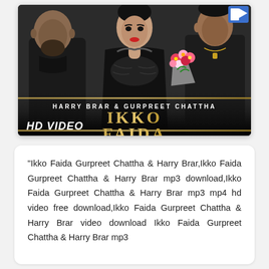[Figure (photo): Music video thumbnail for 'Ikko Faida' by Harry Brar & Gurpreet Chattha. Shows three people in black outfits against a grey background. A woman in the center, two men on either side. One man holds flowers. Text overlay reads 'HARRY BRAR & GURPREET CHATTHA IKKO FAIDA' and 'HD VIDEO' in the bottom left.]
"Ikko Faida Gurpreet Chattha & Harry Brar,Ikko Faida Gurpreet Chattha & Harry Brar mp3 download,Ikko Faida Gurpreet Chattha & Harry Brar mp3 mp4 hd video free download,Ikko Faida Gurpreet Chattha & Harry Brar video download Ikko Faida Gurpreet Chattha & Harry Brar mp3